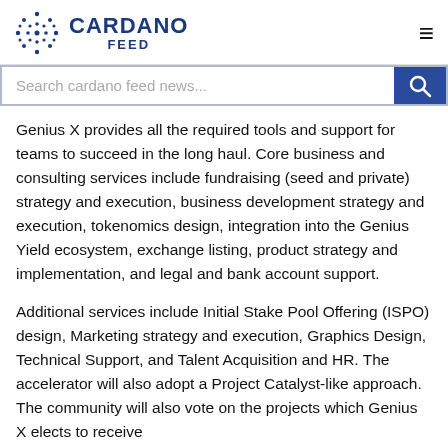CARDANO FEED
Genius X provides all the required tools and support for teams to succeed in the long haul. Core business and consulting services include fundraising (seed and private) strategy and execution, business development strategy and execution, tokenomics design, integration into the Genius Yield ecosystem, exchange listing, product strategy and implementation, and legal and bank account support.
Additional services include Initial Stake Pool Offering (ISPO) design, Marketing strategy and execution, Graphics Design, Technical Support, and Talent Acquisition and HR. The accelerator will also adopt a Project Catalyst-like approach. The community will also vote on the projects which Genius X elects to receive